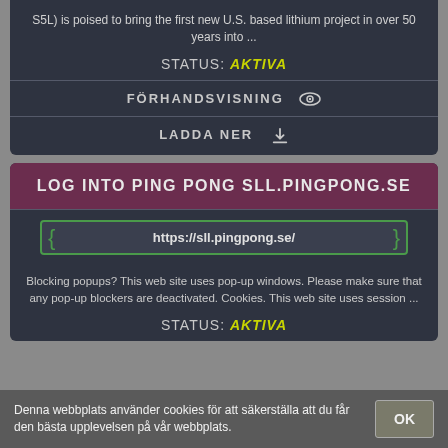S5L) is poised to bring the first new U.S. based lithium project in over 50 years into ...
STATUS: AKTIVA
FÖRHANDSVISNING
LADDA NER
LOG INTO PING PONG SLL.PINGPONG.SE
https://sll.pingpong.se/
Blocking popups? This web site uses pop-up windows. Please make sure that any pop-up blockers are deactivated. Cookies. This web site uses session ...
STATUS: AKTIVA
Denna webbplats använder cookies för att säkerställa att du får den bästa upplevelsen på vår webbplats.